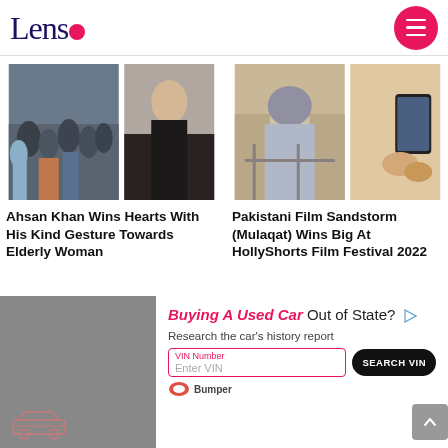Lens
[Figure (photo): Two photos side by side: left shows a crowd scene with people, right shows a well-dressed man in a black outfit]
Ahsan Khan Wins Hearts With His Kind Gesture Towards Elderly Woman
[Figure (photo): Two photos side by side: left shows a woman in a hijab looking downward, right shows hands holding a smartphone]
Pakistani Film Sandstorm (Mulaqat) Wins Big At HollyShorts Film Festival 2022
[Figure (other): Advertisement banner: Buying A Used Car Out of State? Research the car's history report. VIN Number input field with Search VIN button. Bumper logo shown.]